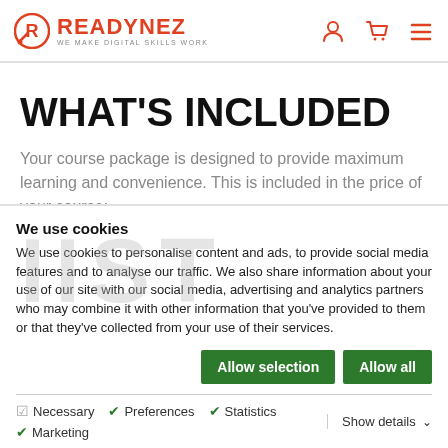READYNEZ — WE MAKE DIGITAL SKILLS WORK
WHAT'S INCLUDED
Your course package is designed to provide maximum learning and convenience. This is included in the price of your course:
We use cookies
We use cookies to personalise content and ads, to provide social media features and to analyse our traffic. We also share information about your use of our site with our social media, advertising and analytics partners who may combine it with other information that you've provided to them or that they've collected from your use of their services.
Allow selection | Allow all | Necessary | Preferences | Statistics | Marketing | Show details